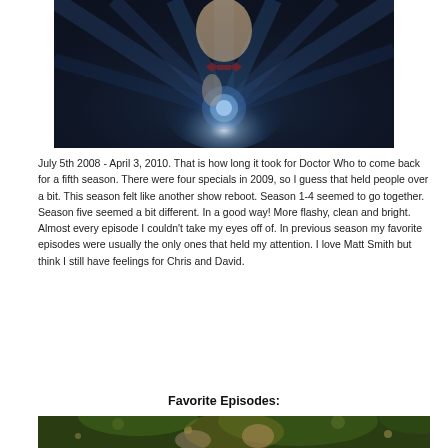[Figure (photo): A person (Matt Smith as the Doctor) wearing a bow tie, holding a glowing sonic screwdriver, with dramatic dark blue radiating light background]
July 5th 2008 - April 3, 2010.  That is how long it took for Doctor Who to come back for a fifth season.  There were four specials in 2009, so I guess that held people over a bit.  This season felt like another show reboot.  Season 1-4 seemed to go together.  Season five seemed a bit different.  In a good way!  More flashy, clean and bright.  Almost every episode I couldn't take my eyes off of.  In previous season my favorite episodes were usually the only ones that held my attention.  I love Matt Smith but think I still have feelings for Chris and David.
Favorite Episodes:
[Figure (photo): Two people in a fantasy forest scene with green foliage and bokeh lights in the background]